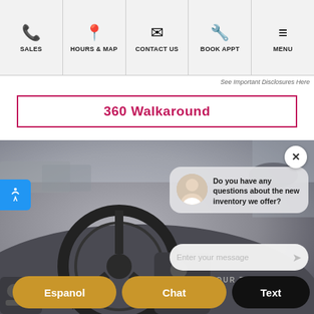SALES | HOURS & MAP | CONTACT US | BOOK APPT | MENU
See Important Disclosures Here
360 Walkaround
[Figure (screenshot): Car interior dashboard and steering wheel background with a chatbot popup overlay showing an avatar of a woman and the message: 'Do you have any questions about the new inventory we offer?' along with a message input field saying 'Enter your message', 'VALUE YOUR TRADE' text, and bottom action buttons: Espanol, Chat, Text]
Do you have any questions about the new inventory we offer?
Enter your message
VALUE YOUR TRADE
Espanol
Chat
Text